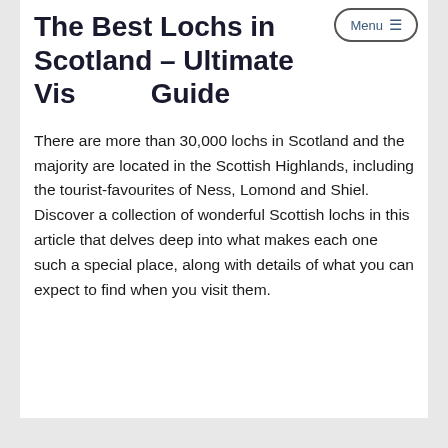The Best Lochs in Scotland – Ultimate Visitor's Guide
There are more than 30,000 lochs in Scotland and the majority are located in the Scottish Highlands, including the tourist-favourites of Ness, Lomond and Shiel. Discover a collection of wonderful Scottish lochs in this article that delves deep into what makes each one such a special place, along with details of what you can expect to find when you visit them.